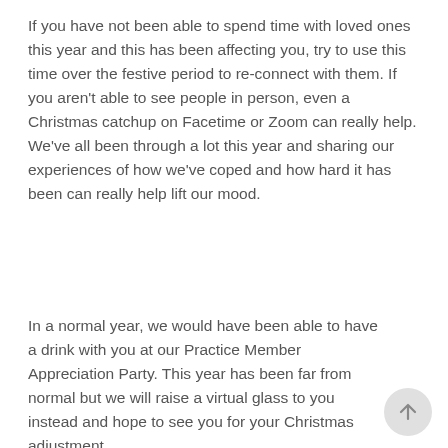If you have not been able to spend time with loved ones this year and this has been affecting you, try to use this time over the festive period to re-connect with them. If you aren't able to see people in person, even a Christmas catchup on Facetime or Zoom can really help. We've all been through a lot this year and sharing our experiences of how we've coped and how hard it has been can really help lift our mood.
In a normal year, we would have been able to have a drink with you at our Practice Member Appreciation Party. This year has been far from normal but we will raise a virtual glass to you instead and hope to see you for your Christmas adjustment.